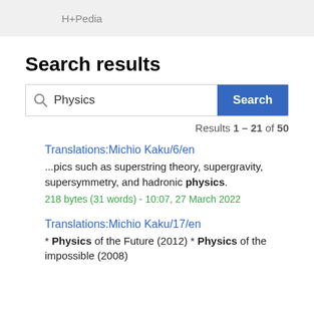H+Pedia
Search results
Physics  Search
Results 1 – 21 of 50
Translations:Michio Kaku/6/en
...pics such as superstring theory, supergravity, supersymmetry, and hadronic physics.
218 bytes (31 words) - 10:07, 27 March 2022
Translations:Michio Kaku/17/en
* Physics of the Future (2012) * Physics of the impossible (2008)